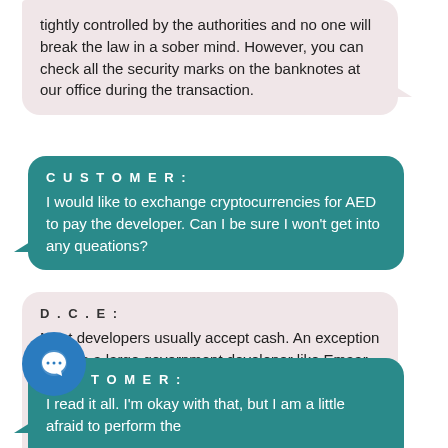tightly controlled by the authorities and no one will break the law in a sober mind. However, you can check all the security marks on the banknotes at our office during the transaction.
CUSTOMER: I would like to exchange cryptocurrencies for AED to pay the developer. Can I be sure I won't get into any queations?
D.C.E: Most developers usually accept cash. An exception may be a large government developer like Emaar. This should be agreed in advance. Don't be afraid to ask directly about the cash payment option. If the developer refuses cash, the manager cheque will help you. We offer such service to our customers.
CUSTOMER: I read it all. I'm okay with that, but I am a little afraid to perform the